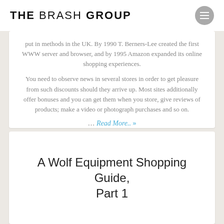THE BRASH GROUP
put in methods in the UK. By 1990 T. Berners-Lee created the first WWW server and browser, and by 1995 Amazon expanded its online shopping experiences.
You need to observe news in several stores in order to get pleasure from such discounts should they arrive up. Most sites additionally offer bonuses and you can get them when you store, give reviews of products; make a video or photograph purchases and so on.
... Read More.. »
A Wolf Equipment Shopping Guide, Part 1